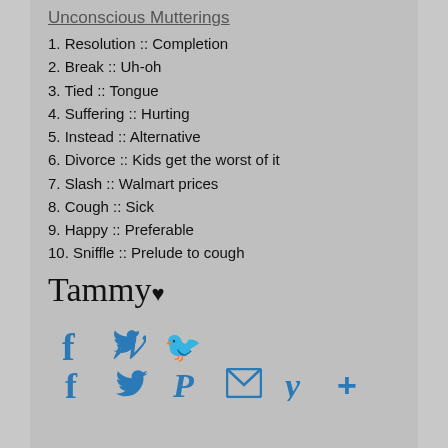Unconscious Mutterings
1. Resolution :: Completion
2. Break :: Uh-oh
3. Tied :: Tongue
4. Suffering :: Hurting
5. Instead :: Alternative
6. Divorce :: Kids get the worst of it
7. Slash :: Walmart prices
8. Cough :: Sick
9. Happy :: Preferable
10. Sniffle :: Prelude to cough
Tammy ♥
[Figure (infographic): Social sharing icons: Facebook, Twitter, Pinterest, Email, Yummly, Plus/More]